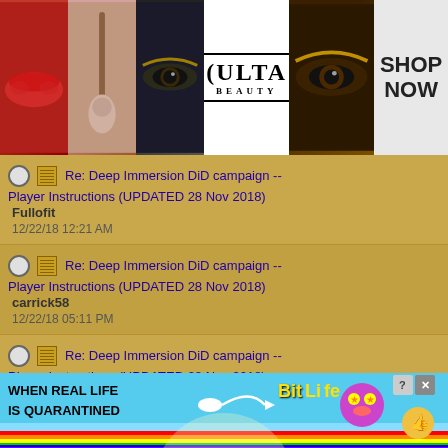[Figure (photo): Banner advertisement for ULTA Beauty with makeup images (lips, brush, eye) and 'SHOP NOW' call to action]
Re: Deep Immersion DiD campaign -- Player Instructions (UPDATED 28 Nov 2018) | Fullofit | 12/22/18 12:21 AM
Re: Deep Immersion DiD campaign -- Player Instructions (UPDATED 28 Nov 2018) | carrick58 | 12/22/18 05:11 PM
Re: Deep Immersion DiD campaign -- Player Instructions (UPDATED 28 Nov 2018) | carrick58 | 12/22/18 05:22 PM
Re: Deep Immersion DiD campaign -- Player Instructions (UPDATED 28 Nov 2018) | lederhosen | 12/22/18 06:50 PM
Re: Deep Immersion DiD campaign -- Player Instructions | carrick58 | 12/22/18 08:05 PM
[Figure (photo): BitLife app advertisement with rainbow background, text 'WHEN REAL LIFE IS QUARANTINED', BitLife logo, and emoji characters]